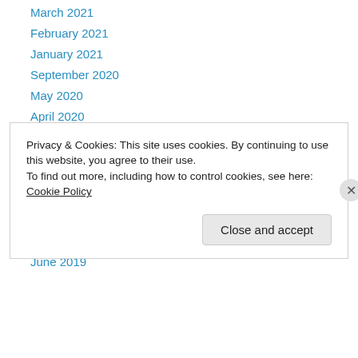March 2021
February 2021
January 2021
September 2020
May 2020
April 2020
February 2020
November 2019
October 2019
September 2019
August 2019
July 2019
June 2019
Privacy & Cookies: This site uses cookies. By continuing to use this website, you agree to their use.
To find out more, including how to control cookies, see here: Cookie Policy
Close and accept